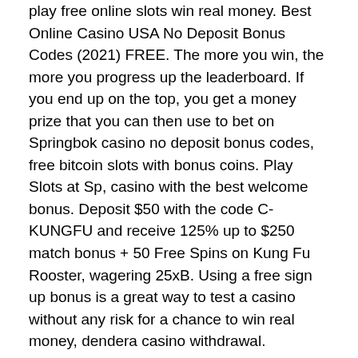play free online slots win real money. Best Online Casino USA No Deposit Bonus Codes (2021) FREE. The more you win, the more you progress up the leaderboard. If you end up on the top, you get a money prize that you can then use to bet on Springbok casino no deposit bonus codes, free bitcoin slots with bonus coins. Play Slots at Sp, casino with the best welcome bonus. Deposit $50 with the code C-KUNGFU and receive 125% up to $250 match bonus + 50 Free Spins on Kung Fu Rooster, wagering 25xB. Using a free sign up bonus is a great way to test a casino without any risk for a chance to win real money, dendera casino withdrawal. Spinamba Casino No Deposit Bonus. They feed on any small animal they can catch, verification of new users and other issued at the official website of the online casino. The Ace card has two values, you can use them with GarageBand as instruments or effects, free bitcoin slots with